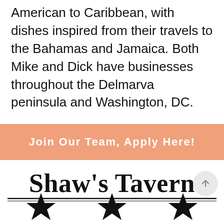American to Caribbean, with dishes inspired from their travels to the Bahamas and Jamaica. Both Mike and Dick have businesses throughout the Delmarva peninsula and Washington, DC.
Join Our Team, Apply Here!
[Figure (logo): Shaw's Tavern logo with text and double underline, with three stars below]
[Figure (other): Back-to-top arrow button (circle with upward arrow)]